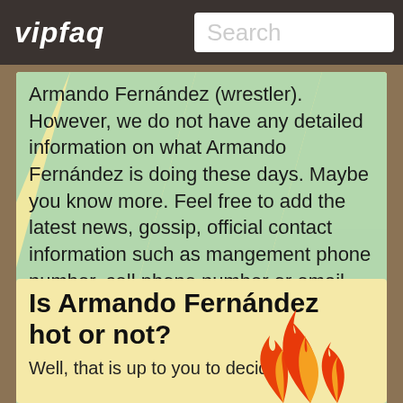vipfaq | Search
Armando Fernández (wrestler). However, we do not have any detailed information on what Armando Fernández is doing these days. Maybe you know more. Feel free to add the latest news, gossip, official contact information such as mangement phone number, cell phone number or email address, and your questions below.
Is Armando Fernández hot or not?
Well, that is up to you to decide!